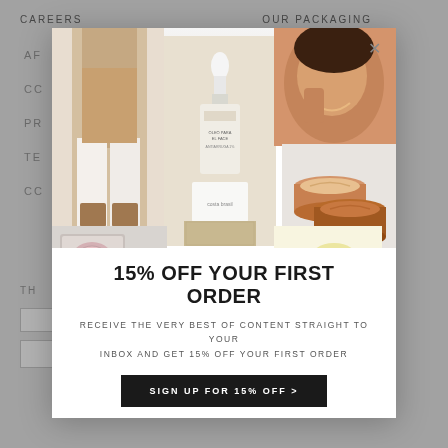CAREERS    OUR PACKAGING
AF
CC
PR
TE
CC
TH
[Figure (photo): Collage of beauty product images: woman in wide-leg pants, face oil bottle, woman applying skincare, cream pots, makeup compact, oil splash]
15% OFF YOUR FIRST ORDER
RECEIVE THE VERY BEST OF CONTENT STRAIGHT TO YOUR INBOX AND GET 15% OFF YOUR FIRST ORDER
SIGN UP FOR 15% OFF >